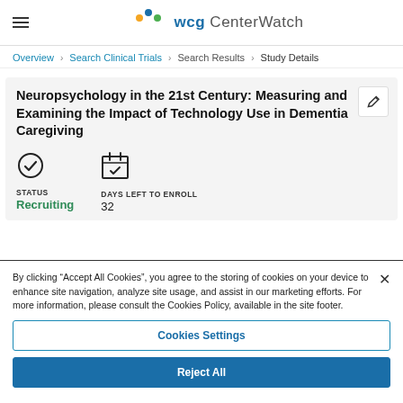WCG CenterWatch
Overview > Search Clinical Trials > Search Results > Study Details
Neuropsychology in the 21st Century: Measuring and Examining the Impact of Technology Use in Dementia Caregiving
STATUS
Recruiting
DAYS LEFT TO ENROLL
32
By clicking “Accept All Cookies”, you agree to the storing of cookies on your device to enhance site navigation, analyze site usage, and assist in our marketing efforts. For more information, please consult the Cookies Policy, available in the site footer.
Cookies Settings
Reject All